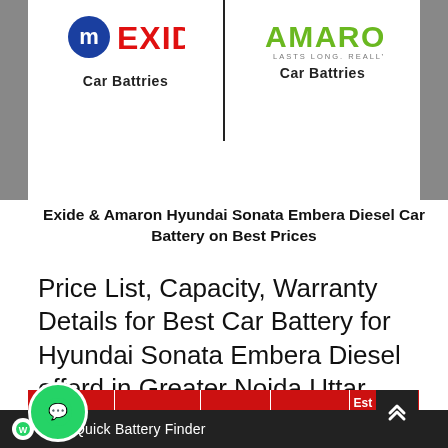[Figure (logo): Exide Car Batteries logo (blue circle with M symbol and red EXIDE text) and Amaron Car Batteries logo (green AMARON text with tagline LASTS LONG. REALLY LONG.) side by side with a vertical divider. Each has 'Car Battries' label below.]
Exide & Amaron Hyundai Sonata Embera Diesel Car Battery on Best Prices
Price List, Capacity, Warranty Details for Best Car Battery for Hyundai Sonata Embera Diesel offerd in Greater Noida Uttar Pradesh..
| Battery Brand & ... | Battery ... |  | Warranty | Est... Cost |
| --- | --- | --- | --- | --- |
|  |  |  |  |  |
|  |  |  |  | ₹ 4500 |
Quick Battery Finder